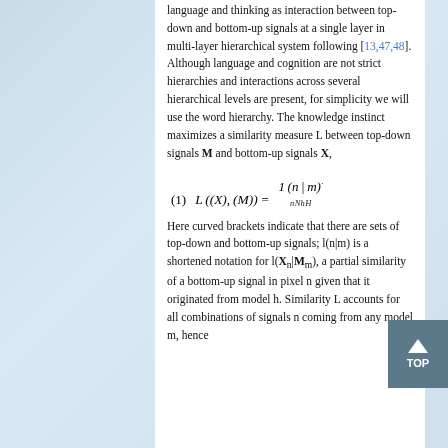language and thinking as interaction between top-down and bottom-up signals at a single layer in multi-layer hierarchical system following [13,47,48]. Although language and cognition are not strict hierarchies and interactions across several hierarchical levels are present, for simplicity we will use the word hierarchy. The knowledge instinct maximizes a similarity measure L between top-down signals M and bottom-up signals X,
Here curved brackets indicate that there are sets of top-down and bottom-up signals; l(n|m) is a shortened notation for l(X_n|M_m), a partial similarity of a bottom-up signal in pixel n given that it originated from model h. Similarity L accounts for all combinations of signals n coming from any model m, hence